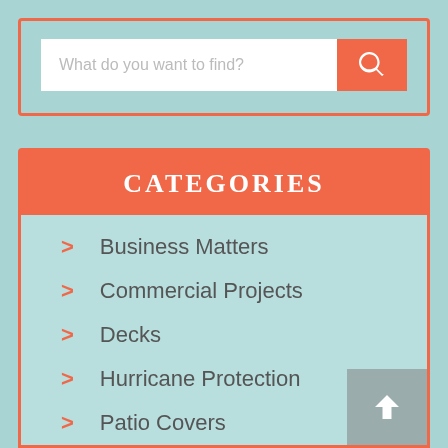[Figure (screenshot): Search bar with placeholder text 'What do you want to find?' and an orange search button with magnifying glass icon]
CATEGORIES
Business Matters
Commercial Projects
Decks
Hurricane Protection
Patio Covers
Pool Covers
Retractable Awnings
Roofing
Sunrooms